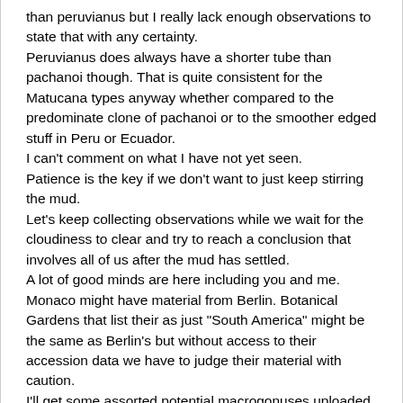than peruvianus but I really lack enough observations to state that with any certainty.
Peruvianus does always have a shorter tube than pachanoi though. That is quite consistent for the Matucana types anyway whether compared to the predominate clone of pachanoi or to the smoother edged stuff in Peru or Ecuador.
I can't comment on what I have not yet seen.
Patience is the key if we don't want to just keep stirring the mud.
Let's keep collecting observations while we wait for the cloudiness to clear and try to reach a conclusion that involves all of us after the mud has settled.
A lot of good minds are here including you and me.
Monaco might have material from Berlin. Botanical Gardens that list their as just "South America" might be the same as Berlin's but without access to their accession data we have to judge their material with caution.
I'll get some assorted potential macrogonuses uploaded perhaps as soon as tonight.
Again at this point we should take it slow and amass data rather than conclusions.
We should though stick with the published description's limitations even if we call it into question throughout the process.